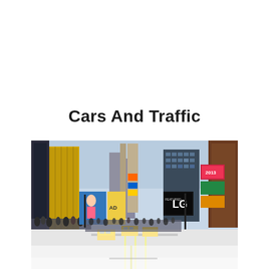Cars And Traffic
[Figure (photo): Times Square, New York City street view with tall buildings covered in colorful billboards and advertisements (including LG and other brands), crowds of pedestrians and yellow taxis on the road. The bottom portion of the image is faded/washed out showing a street with road markings.]